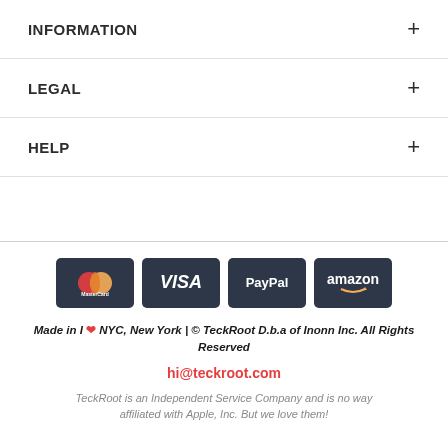INFORMATION +
LEGAL +
HELP +
[Figure (other): Payment method icons: MasterCard, VISA, PayPal, Amazon]
Made in I ❤ NYC, New York | © TeckRoot D.b.a of Inonn Inc. All Rights Reserved
hi@teckroot.com
TeckRoot is an Independent Service Company and is no way affiliated with Apple, Inc. But we love them!